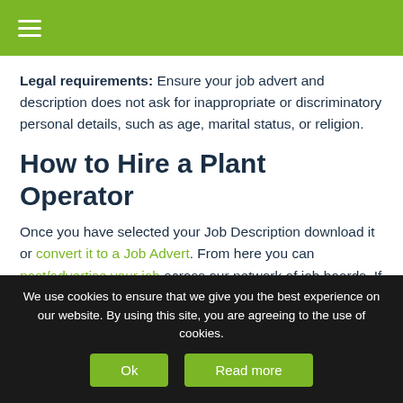≡
Legal requirements: Ensure your job advert and description does not ask for inappropriate or discriminatory personal details, such as age, marital status, or religion.
How to Hire a Plant Operator
Once you have selected your Job Description download it or convert it to a Job Advert. From here you can post/advertise your job across our network of job boards. If you wish to use the job description for a CV Template click through for advice and Convert to a CV
We use cookies to ensure that we give you the best experience on our website. By using this site, you are agreeing to the use of cookies. Ok Read more